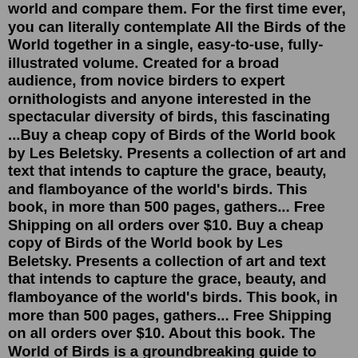world and compare them. For the first time ever, you can literally contemplate All the Birds of the World together in a single, easy-to-use, fully-illustrated volume. Created for a broad audience, from novice birders to expert ornithologists and anyone interested in the spectacular diversity of birds, this fascinating ...Buy a cheap copy of Birds of the World book by Les Beletsky. Presents a collection of art and text that intends to capture the grace, beauty, and flamboyance of the world's birds. This book, in more than 500 pages, gathers... Free Shipping on all orders over $10. Buy a cheap copy of Birds of the World book by Les Beletsky. Presents a collection of art and text that intends to capture the grace, beauty, and flamboyance of the world's birds. This book, in more than 500 pages, gathers... Free Shipping on all orders over $10. About this book. The World of Birds is a groundbreaking guide to every aspect of bird life and a complete survey of the world's orders and families of birds. Written by eminent natural history expert Jonathan Elphick and with special photography from